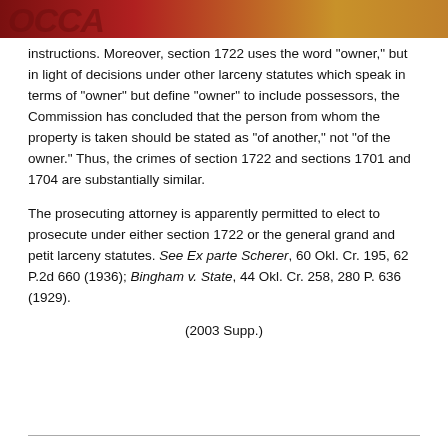OCCA
instructions. Moreover, section 1722 uses the word "owner," but in light of decisions under other larceny statutes which speak in terms of "owner" but define "owner" to include possessors, the Commission has concluded that the person from whom the property is taken should be stated as "of another," not "of the owner." Thus, the crimes of section 1722 and sections 1701 and 1704 are substantially similar.
The prosecuting attorney is apparently permitted to elect to prosecute under either section 1722 or the general grand and petit larceny statutes. See Ex parte Scherer, 60 Okl. Cr. 195, 62 P.2d 660 (1936); Bingham v. State, 44 Okl. Cr. 258, 280 P. 636 (1929).
(2003 Supp.)